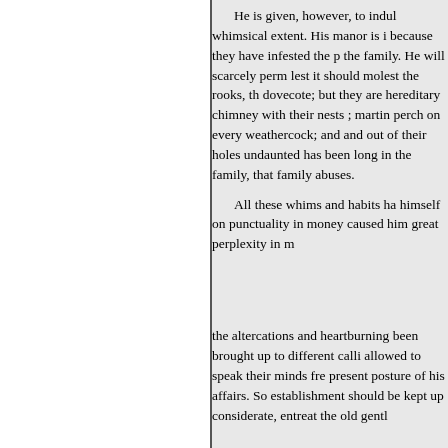He is given, however, to indul whimsical extent. His manor is i because they have infested the p the family. He will scarcely perm lest it should molest the rooks, th dovecote; but they are hereditary chimney with their nests ; martin perch on every weathercock; and and out of their holes undaunted has been long in the family, that family abuses. All these whims and habits ha himself on punctuality in money caused him great perplexity in m the altercations and heartburning been brought up to different calli allowed to speak their minds fre present posture of his affairs. So establishment should be kept up considerate, entreat the old gentl